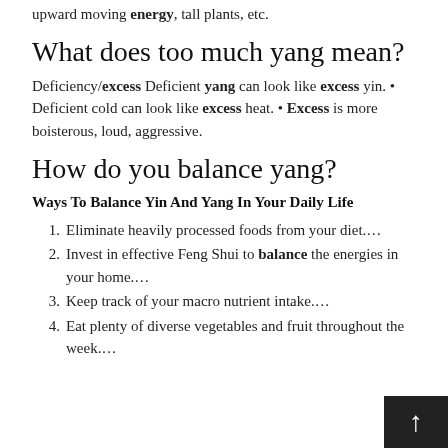upward moving energy, tall plants, etc.
What does too much yang mean?
Deficiency/excess Deficient yang can look like excess yin. • Deficient cold can look like excess heat. • Excess is more boisterous, loud, aggressive.
How do you balance yang?
Ways To Balance Yin And Yang In Your Daily Life
Eliminate heavily processed foods from your diet....
Invest in effective Feng Shui to balance the energies in your home....
Keep track of your macro nutrient intake....
Eat plenty of diverse vegetables and fruit throughout the week....